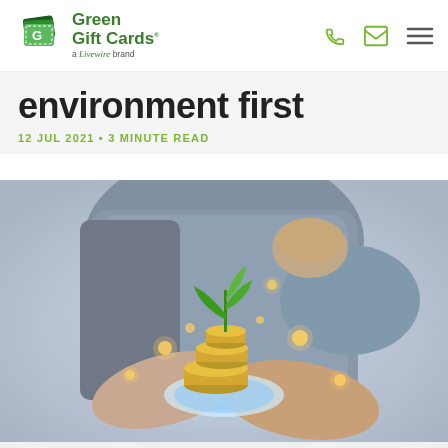Green Gift Cards – a Livewire brand
environment first
12 JUL 2021 • 3 MINUTE READ
[Figure (photo): Person in denim shirt cupping hands around a glowing stack of coins with a green plant sprouting on top, symbolizing green/sustainable investment.]